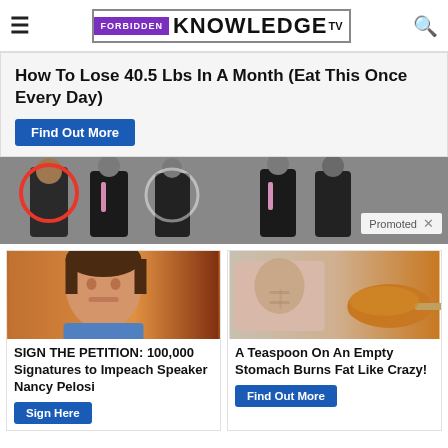Forbidden Knowledge TV
How To Lose 40.5 Lbs In A Month (Eat This Once Every Day)
Find Out More
[Figure (photo): Group of men in suits with one person circled in red on the left, and another circle on the right; 'Promoted X' badge visible]
[Figure (photo): Woman with brown hair in blue jacket (Nancy Pelosi)]
SIGN THE PETITION: 100,000 Signatures to Impeach Speaker Nancy Pelosi
Sign Here
[Figure (photo): Woman with toned abs and a spoon of spice/powder]
A Teaspoon On An Empty Stomach Burns Fat Like Crazy!
Find Out More